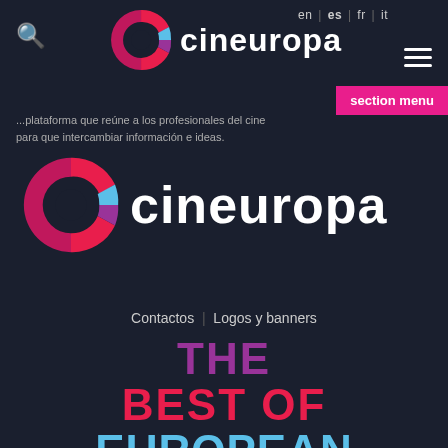[Figure (logo): Cineuropa logo at top center - colorful C with cineuropa text]
en | es | fr | it
section menu
...plataforma que reúne a los profesionales del cine para que intercambiar información e ideas.
[Figure (logo): Large Cineuropa logo in page body - colorful C with cineuropa text]
Contactos   |   Logos y banners
THE BEST OF EUROPEAN CINEMA